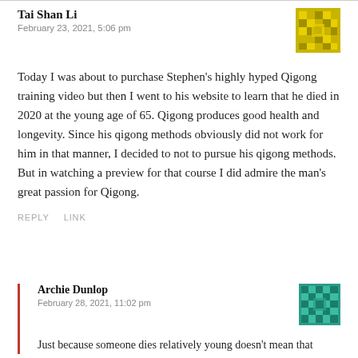Tai Shan Li
February 23, 2021, 5:06 pm
[Figure (illustration): Yellow/olive geometric mosaic avatar icon for Tai Shan Li]
Today I was about to purchase Stephen’s highly hyped Qigong training video but then I went to his website to learn that he died in 2020 at the young age of 65. Qigong produces good health and longevity. Since his qigong methods obviously did not work for him in that manner, I decided to not to pursue his qigong methods. But in watching a preview for that course I did admire the man’s great passion for Qigong.
REPLY   LINK
Archie Dunlop
February 28, 2021, 11:02 pm
[Figure (illustration): Teal geometric mosaic avatar icon for Archie Dunlop]
Just because someone dies relatively young doesn’t mean that